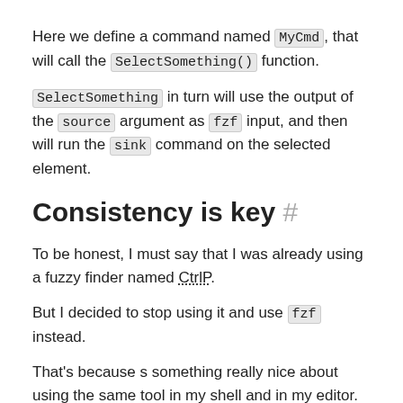Here we define a command named MyCmd, that will call the SelectSomething() function.
SelectSomething in turn will use the output of the source argument as fzf input, and then will run the sink command on the selected element.
Consistency is key #
To be honest, I must say that I was already using a fuzzy finder named CtrlP.
But I decided to stop using it and use fzf instead.
That's because s something really nice about using the same tool in my shell and in my editor. It means I only need to learn how to use and configure it once.